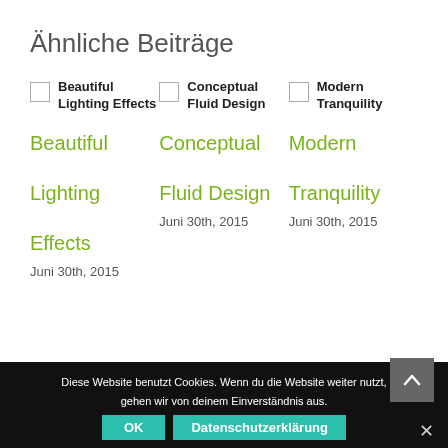Ähnliche Beiträge
Beautiful Lighting Effects
Conceptual Fluid Design
Modern Tranquility
Beautiful Lighting Effects
Juni 30th, 2015
Conceptual Fluid Design
Juni 30th, 2015
Modern Tranquility
Juni 30th, 2015
Diese Website benutzt Cookies. Wenn du die Website weiter nutzt, gehen wir von deinem Einverständnis aus.